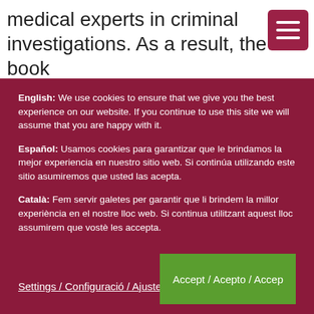medical experts in criminal investigations. As a result, the book
English: We use cookies to ensure that we give you the best experience on our website. If you continue to use this site we will assume that you are happy with it.

Español: Usamos cookies para garantizar que le brindamos la mejor experiencia en nuestro sitio web. Si continúa utilizando este sitio asumiremos que usted las acepta.

Català: Fem servir galetes per garantir que li brindem la millor experiència en el nostre lloc web. Si continua utilitzant aquest lloc assumirem que vostè les accepta.
Settings / Configuració / Ajustes
Accept / Acepto / Accep